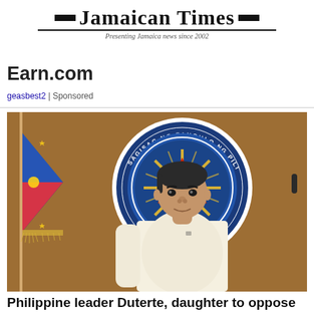Jamaican Times — Presenting Jamaica news since 2002
Earn.com
geasbest2 | Sponsored
[Figure (photo): Philippine President Rodrigo Duterte standing in front of the Seal of the President of the Philippines (Sagisag ng Pangulo ng Pilipinas), with the Philippine flag visible on the left.]
Philippine leader Duterte, daughter to oppose each other in election
Rodrigo Duterte, President of the Philippines, will run against